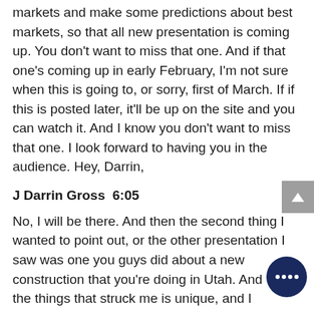markets and make some predictions about best markets, so that all new presentation is coming up. You don't want to miss that one. And if that one's coming up in early February, I'm not sure when this is going to, or sorry, first of March. If if this is posted later, it'll be up on the site and you can watch it. And I know you don't want to miss that one. I look forward to having you in the audience. Hey, Darrin,
J Darrin Gross  6:05
No, I will be there. And then the second thing I wanted to point out, or the other presentation I saw was one you guys did about a new construction that you're doing in Utah. And of the things that struck me is unique, and I